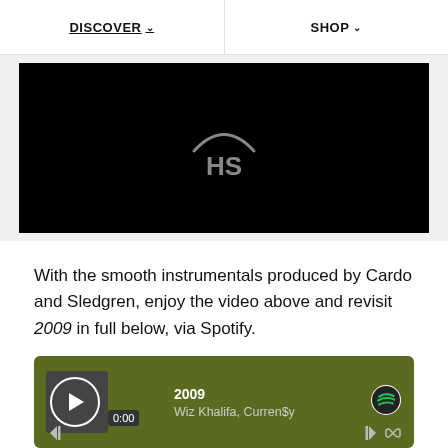DISCOVER ∨   SHOP ∨
[Figure (screenshot): Black video thumbnail with grey HS logo (HipHopSince1987 or similar) centered, showing an arc above the letters HS]
With the smooth instrumentals produced by Cardo and Sledgren, enjoy the video above and revisit 2009 in full below, via Spotify.
[Figure (screenshot): Spotify embedded player with olive/dark green background. Shows album art area (dark), play button circle, track title '2009', artist 'Wiz Khalifa, Curren$y', time bubble showing 0:00, Spotify logo, and bottom transport controls.]